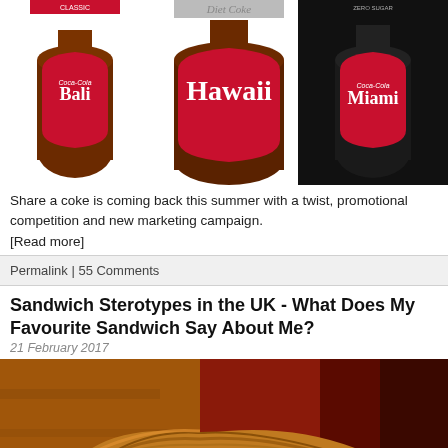[Figure (photo): Three Coca-Cola bottles labeled Bali (Classic), Hawaii (Diet Coke), and Miami (Zero Sugar) arranged side by side]
Share a coke is coming back this summer with a twist, promotional competition and new marketing campaign.
[Read more]
Permalink | 55 Comments
Sandwich Sterotypes in the UK - What Does My Favourite Sandwich Say About Me?
21 February 2017
[Figure (photo): A croissant sandwich on a white plate with filling visible, colorful background]